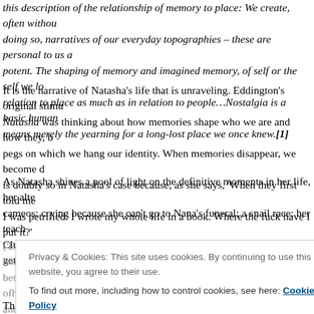this description of the relationship of memory to place: We create, often without doing so, narratives of our everyday topographies – these are personal to us a potent. The shaping of memory and imagined memory, of self or the self we lo relation to place as much as in relation to people…Nostalgia is a basic human means merely the yearning for a long-lost place we once knew.[1]
It is the narrative of Natasha's life that is unraveling. Eddington's original stimu Natasha was thinking about how memories shape who we are and how they, b pegs on which we hang our identity. When memories disappear, we become d is doubly so in Natasha's case because, as she says, 'When they first told me I was petrified. I wrote my whole life in a book. Where the fuck have I put it?'
As Natasha shines a pool of light on the definitive moments in her life, her alte cameos: crying because she can't go to Nana's funeral; a snail race; her teach Clues – who said she wouldn't come to much; going to art school, getting kicke
('E everything ing how to ho home the message, romance, commission; losing her virginity; love, betrayal, of her daughter and their subsequent, strained relations. Bourgeignon and Da beautifully. Then there is a moment when we realize we no longer have a pers merging with the disintegrating present.
This is not the story of any particular individual; Natasha's memories are gathe